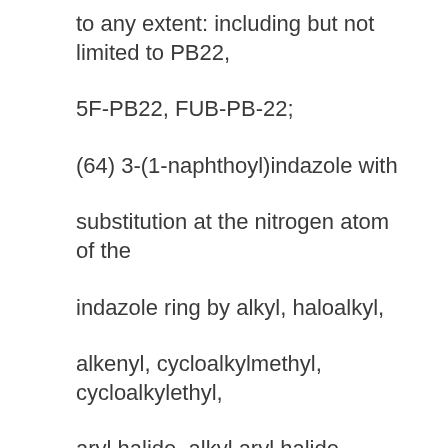to any extent: including but not limited to PB22,
5F-PB22, FUB-PB-22;
(64) 3-(1-naphthoyl)indazole with
substitution at the nitrogen atom of the
indazole ring by alkyl, haloalkyl,
alkenyl, cycloalkylmethyl, cycloalkylethyl,
aryl halide, alkyl aryl halide,
1-(N-methyl-2-piperidinyl)methyl, or
2-(4-morpholinyl)ethyl, whether or not further